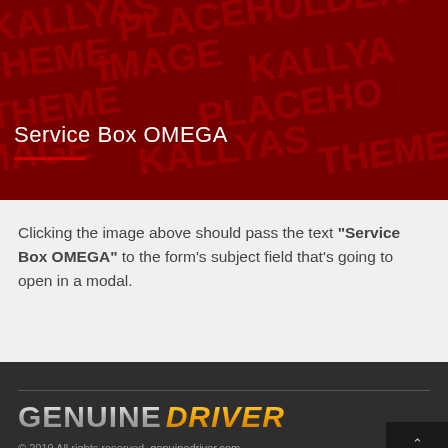[Figure (photo): Dark red placeholder image with repeated text 'KALLYAS THEME PLACEHOLDER IMAGE' in large bold letters across the background, with white text 'Service Box OMEGA' and a red underline in the lower-left area.]
Clicking the image above should pass the text "Service Box OMEGA" to the form's subject field that's going to open in a modal.
[Figure (logo): Genuine Driver logo: 'GENUINE' in silver metallic bold text and 'DRIVER' in gold/yellow italic bold text]
© 2019 All rights reserved. genuinedriver.com.